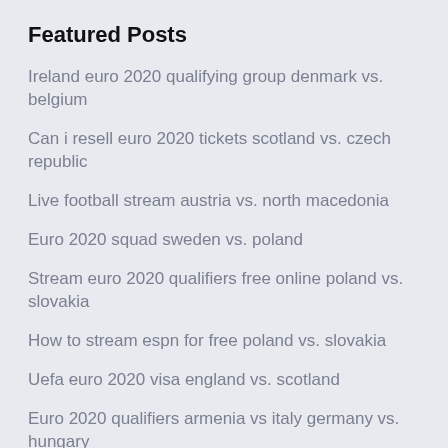Featured Posts
Ireland euro 2020 qualifying group denmark vs. belgium
Can i resell euro 2020 tickets scotland vs. czech republic
Live football stream austria vs. north macedonia
Euro 2020 squad sweden vs. poland
Stream euro 2020 qualifiers free online poland vs. slovakia
How to stream espn for free poland vs. slovakia
Uefa euro 2020 visa england vs. scotland
Euro 2020 qualifiers armenia vs italy germany vs. hungary